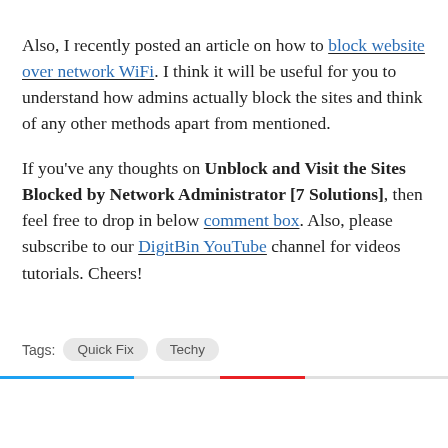Also, I recently posted an article on how to block website over network WiFi. I think it will be useful for you to understand how admins actually block the sites and think of any other methods apart from mentioned.
If you've any thoughts on Unblock and Visit the Sites Blocked by Network Administrator [7 Solutions], then feel free to drop in below comment box. Also, please subscribe to our DigitBin YouTube channel for videos tutorials. Cheers!
Tags: Quick Fix   Techy
[Figure (infographic): Social share buttons row with + icons and arrow shapes in light gray, followed by social media icons (Twitter, Facebook, Pinterest, LinkedIn) at the bottom]